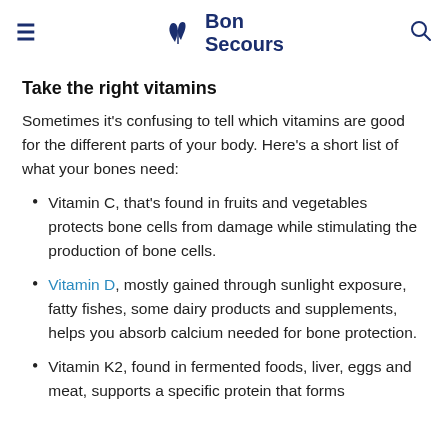Bon Secours
Take the right vitamins
Sometimes it's confusing to tell which vitamins are good for the different parts of your body. Here's a short list of what your bones need:
Vitamin C, that's found in fruits and vegetables protects bone cells from damage while stimulating the production of bone cells.
Vitamin D, mostly gained through sunlight exposure, fatty fishes, some dairy products and supplements, helps you absorb calcium needed for bone protection.
Vitamin K2, found in fermented foods, liver, eggs and meat, supports a specific protein that forms